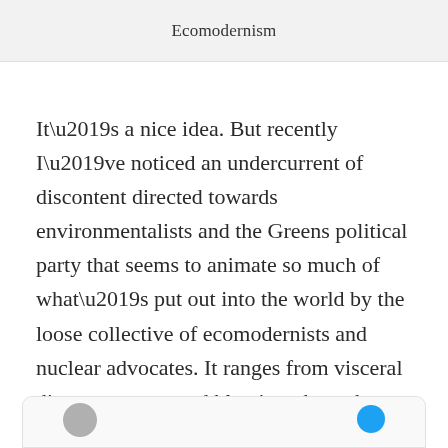Ecomodernism
It’s a nice idea. But recently I’ve noticed an undercurrent of discontent directed towards environmentalists and the Greens political party that seems to animate so much of what’s put out into the world by the loose collective of ecomodernists and nuclear advocates. It ranges from visceral distaste, to nuanced blaming, through to ideological paranoia. It also seems to be driven by something deeper and older than disagreement on the mathematics of climate solutions.